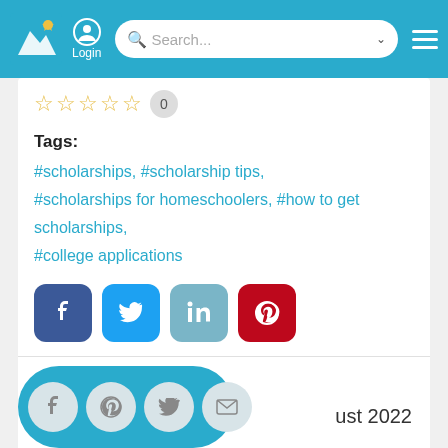[Figure (screenshot): Website header with teal background containing logo, login icon, search bar, and hamburger menu]
☆ ☆ ☆ ☆ ☆  0
Tags:
#scholarships, #scholarship tips, #scholarships for homeschoolers, #how to get scholarships, #college applications
[Figure (infographic): Social media share buttons: Facebook (dark blue), Twitter (light blue), LinkedIn (teal-grey), Pinterest (red)]
249   0 Comments
[Figure (infographic): Teal pill shape with social icon circles (Facebook, Pinterest, Twitter, Email) and partial date text 'ust 2022']